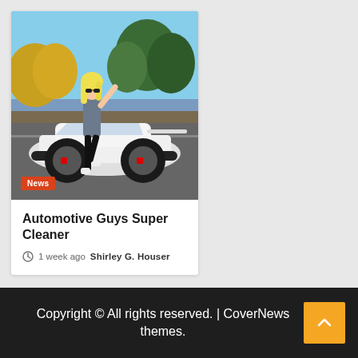[Figure (photo): Woman with blonde hair and sunglasses posing next to a white Lamborghini sports car on a road, with trees in the background.]
Automotive Guys Super Cleaner
1 week ago  Shirley G. Houser
Copyright © All rights reserved. | CoverNews themes.